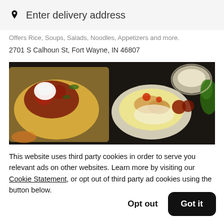Enter delivery address
Offers Rice, Soups, Salads, Noodles, Appetizers and more.
2701 S Calhoun St, Fort Wayne, IN 46807
[Figure (photo): Restaurant food photo showing nachos with toppings and sour cream on a tray, a bowl of rice with chicken and vegetables, and other dishes on a dark wooden table]
This website uses third party cookies in order to serve you relevant ads on other websites. Learn more by visiting our Cookie Statement, or opt out of third party ad cookies using the button below.
Opt out
Got it